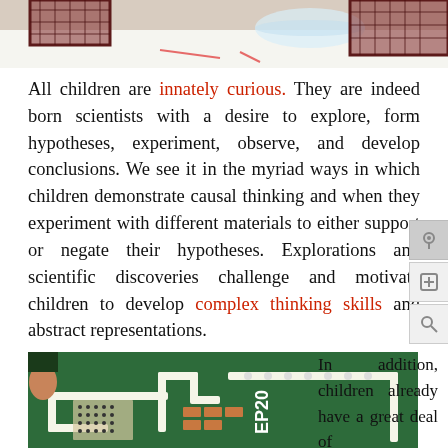[Figure (photo): Top portion of a photo showing children in plaid clothing at a table with a clear container, science experiment setting.]
All children are innately curious. They are indeed born scientists with a desire to explore, form hypotheses, experiment, observe, and develop conclusions. We see it in the myriad ways in which children demonstrate causal thinking and when they experiment with different materials to either support or negate their hypotheses. Explorations and scientific discoveries challenge and motivate children to develop complex thinking skills and abstract representations.
[Figure (photo): A child looking at a green board/mat covered with small objects arranged to look like a circuit or city map, with labels including 'EP20'.]
In addition, children already have a great deal of